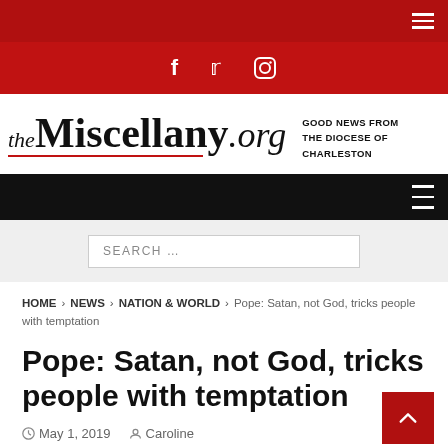theMiscellany.org — GOOD NEWS FROM THE DIOCESE OF CHARLESTON
SEARCH ...
HOME > NEWS > NATION & WORLD > Pope: Satan, not God, tricks people with temptation
Pope: Satan, not God, tricks people with temptation
May 1, 2019   Caroline